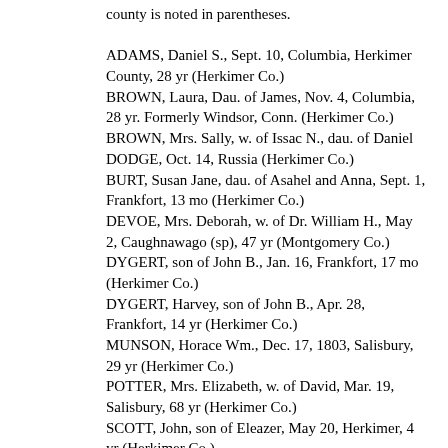county is noted in parentheses.
ADAMS, Daniel S., Sept. 10, Columbia, Herkimer County, 28 yr (Herkimer Co.)
BROWN, Laura, Dau. of James, Nov. 4, Columbia, 28 yr. Formerly Windsor, Conn. (Herkimer Co.)
BROWN, Mrs. Sally, w. of Issac N., dau. of Daniel DODGE, Oct. 14, Russia (Herkimer Co.)
BURT, Susan Jane, dau. of Asahel and Anna, Sept. 1, Frankfort, 13 mo (Herkimer Co.)
DEVOE, Mrs. Deborah, w. of Dr. William H., May 2, Caughnawago (sp), 47 yr (Montgomery Co.)
DYGERT, son of John B., Jan. 16, Frankfort, 17 mo (Herkimer Co.)
DYGERT, Harvey, son of John B., Apr. 28, Frankfort, 14 yr (Herkimer Co.)
MUNSON, Horace Wm., Dec. 17, 1803, Salisbury, 29 yr (Herkimer Co.)
POTTER, Mrs. Elizabeth, w. of David, Mar. 19, Salisbury, 68 yr (Herkimer Co.)
SCOTT, John, son of Eleazer, May 20, Herkimer, 4 yr (Herkimer Co.)
UNDERWOOD, Alzina, w. of Edgar, Sept. 10, 21 yr. Funeral in Litchfield. Leaves husband and infant. (Herkimer Co.)